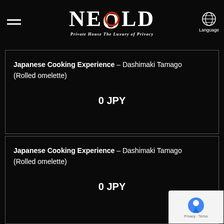NEOLD - Private House The Luxury of Privacy
Japanese Cooking Experience – Dashimaki Tamago (Rolled omelette)
0 JPY
Japanese Cooking Experience – Dashimaki Tamago (Rolled omelette)
0 JPY